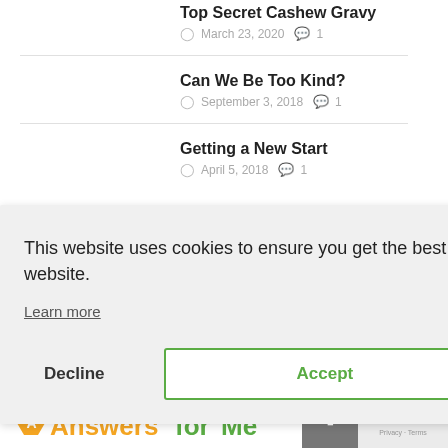Top Secret Cashew Gravy
March 23, 2020   1
Can We Be Too Kind?
September 3, 2018   1
Getting a New Start
April 5, 2018   1
This website uses cookies to ensure you get the best experience on our website.
Learn more
Decline
Accept